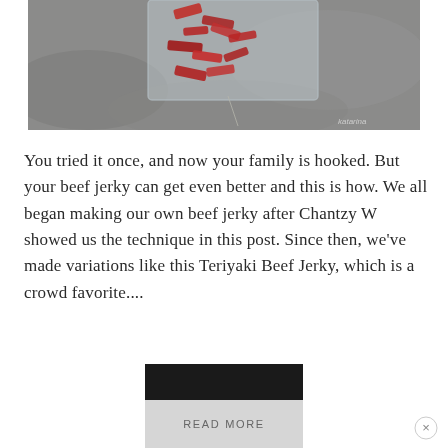[Figure (photo): Top-down photo of raw beef jerky pieces in a clear plastic zip-lock bag, placed on a gray concrete surface]
You tried it once, and now your family is hooked. But your beef jerky can get even better and this is how. We all began making our own beef jerky after Chantzy W showed us the technique in this post. Since then, we've made variations like this Teriyaki Beef Jerky, which is a crowd favorite....
[Figure (screenshot): READ MORE button with dark overlay bar above it, and a close (X) button at bottom right]